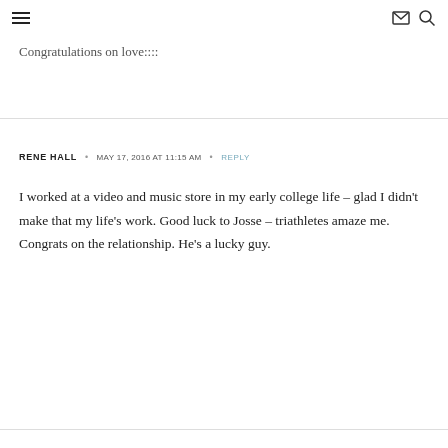≡  ✉ 🔍
Congratulations on love::::
RENE HALL • MAY 17, 2016 AT 11:15 AM • REPLY
I worked at a video and music store in my early college life – glad I didn't make that my life's work. Good luck to Josse – triathletes amaze me. Congrats on the relationship. He's a lucky guy.